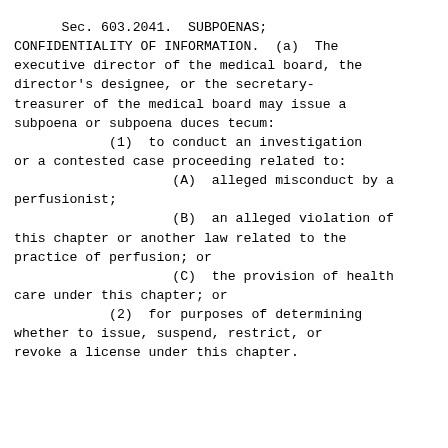Sec. 603.2041.  SUBPOENAS; CONFIDENTIALITY OF INFORMATION.  (a)  The executive director of the medical board, the director's designee, or the secretary-treasurer of the medical board may issue a subpoena or subpoena duces tecum:
        (1)  to conduct an investigation or a contested case proceeding related to:
                (A)  alleged misconduct by a perfusionist;
                (B)  an alleged violation of this chapter or another law related to the practice of perfusion; or
                (C)  the provision of health care under this chapter; or
        (2)  for purposes of determining whether to issue, suspend, restrict, or revoke a license under this chapter.